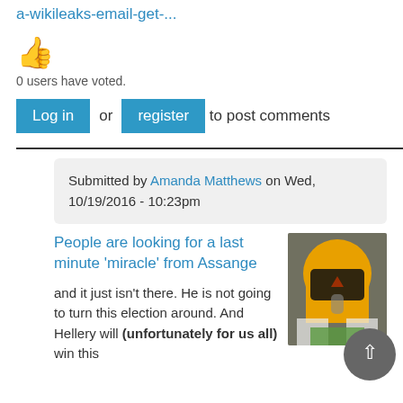a-wikileaks-email-get-...
[Figure (illustration): Thumbs up emoji icon]
0 users have voted.
Log in or register to post comments
Submitted by Amanda Matthews on Wed, 10/19/2016 - 10:23pm
People are looking for a last minute 'miracle' from Assange
[Figure (photo): Person wearing a Transformers Bumblebee helmet/mask]
and it just isn't there. He is not going to turn this election around. And Hellery will (unfortunately for us all) win this